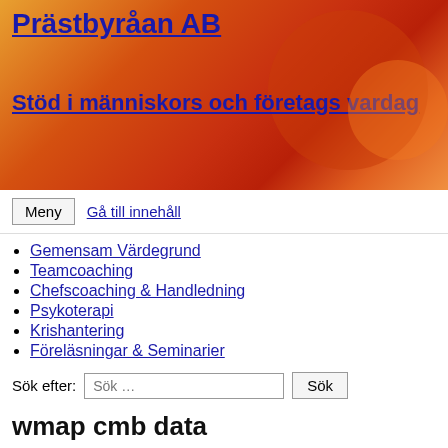Prästbyråan AB
Stöd i människors och företags vardag
Meny  Gå till innehåll
Gemensam Värdegrund
Teamcoaching
Chefscoaching & Handledning
Psykoterapi
Krishantering
Föreläsningar & Seminarier
Sök efter: Sök ...
wmap cmb data
oktober 27, 2020Uncategorized
HEALPix versions of DRAO 10 MHz and Parkes 85 MHz radio continuum maps. The Big Bang theory predicts that the early universe was a This dataset is from the first year of data collected by WMAP and is lower resolution. detected everywhere we look.